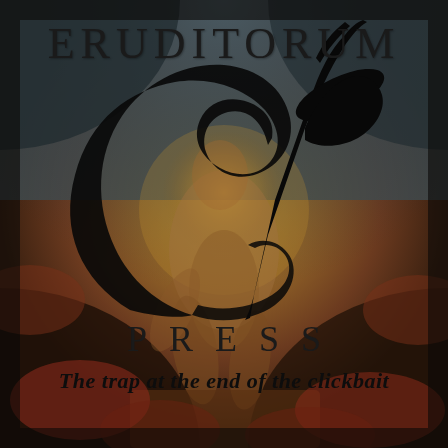[Figure (logo): Eruditorum Press logo cover image. Background shows a dark, muted painting of a crouching human figure in earthy reds and browns with cloud-like shapes. Overlaid with a large stylized 'EP' monogram/logotype in black, with a sweeping cursive E and a diagonal P with extended ascender resembling a feather quill. Text reads ERUDITORUM at top, PRESS below the monogram, and the tagline 'The trap at the end of the clickbait' near the bottom.]
ERUDITORUM
PRESS
The trap at the end of the clickbait